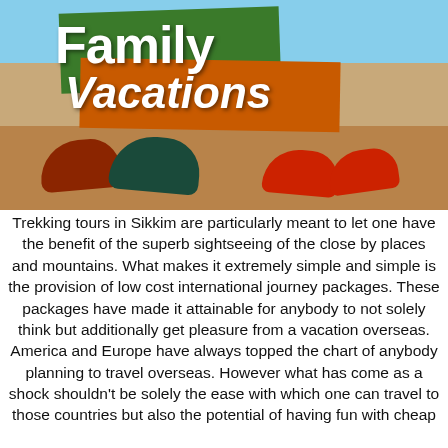[Figure (photo): Photo of family shoes (sneakers) on sandy ground with a green banner reading 'Family' and an orange banner reading 'Vacations' overlaid on top.]
Trekking tours in Sikkim are particularly meant to let one have the benefit of the superb sightseeing of the close by places and mountains. What makes it extremely simple and simple is the provision of low cost international journey packages. These packages have made it attainable for anybody to not solely think but additionally get pleasure from a vacation overseas. America and Europe have always topped the chart of anybody planning to travel overseas. However what has come as a shock shouldn't be solely the ease with which one can travel to those countries but also the potential of having fun with cheap